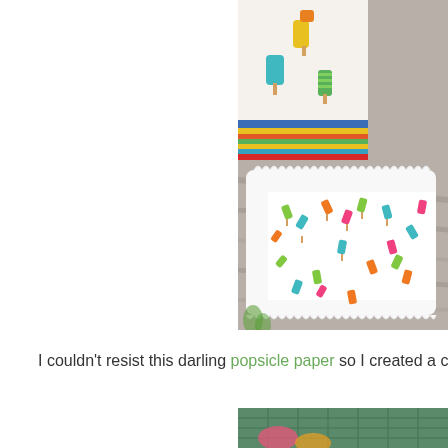[Figure (photo): Close-up photo of a white scalloped-edge tray/frame with colorful popsicle-patterned paper inside, sitting on a wooden surface. In the background are striped and popsicle-themed papers in green, yellow, teal, orange, pink colors.]
I couldn't resist this darling popsicle paper so I created a c
[Figure (photo): Partial photo showing a green plaid/grid background with colorful craft elements, partially cut off at bottom of page.]